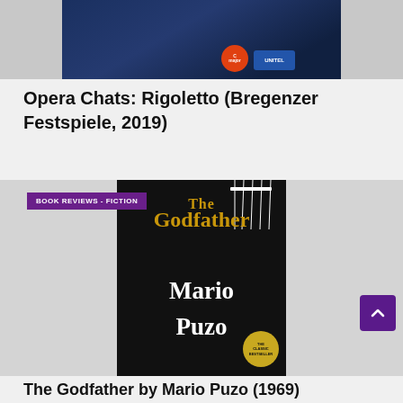[Figure (photo): Opera stage production photo showing Rigoletto at Bregenzer Festspiele 2019, with C major and Unitel logos]
Opera Chats: Rigoletto (Bregenzer Festspiele, 2019)
[Figure (photo): Book cover of The Godfather by Mario Puzo, with BOOK REVIEWS - FICTION banner overlay. Dark cover with gold and white text, puppet strings illustration, and classic bestseller badge.]
The Godfather by Mario Puzo (1969)